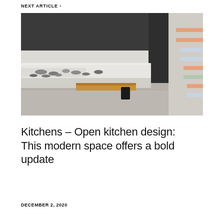NEXT ARTICLE >
[Figure (photo): Modern open kitchen with dark upper cabinets, white marble countertops with bowls and stones arranged on them, a wooden island or cutting board in the center, and colorful staircase visible on the right side.]
Kitchens – Open kitchen design: This modern space offers a bold update
DECEMBER 2, 2020